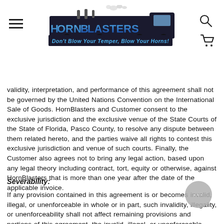HornBlasters - Don't Blow Your Temper, Blow Your Horns!
validity, interpretation, and performance of this agreement shall not be governed by the United Nations Convention on the International Sale of Goods. HornBlasters and Customer consent to the exclusive jurisdiction and the exclusive venue of the State Courts of the State of Florida, Pasco County, to resolve any dispute between them related hereto, and the parties waive all rights to contest this exclusive jurisdiction and venue of such courts. Finally, the Customer also agrees not to bring any legal action, based upon any legal theory including contract, tort, equity or otherwise, against HornBlasters that is more than one year after the date of the applicable invoice.
Severability:
If any provision contained in this agreement is or becomes invalid, illegal, or unenforceable in whole or in part, such invalidity, illegality, or unenforceability shall not affect remaining provisions and portions of this agreement, the invalid, illegal, or unenforceable provision shall be deemed modified so as to have the most similar result that is valid and